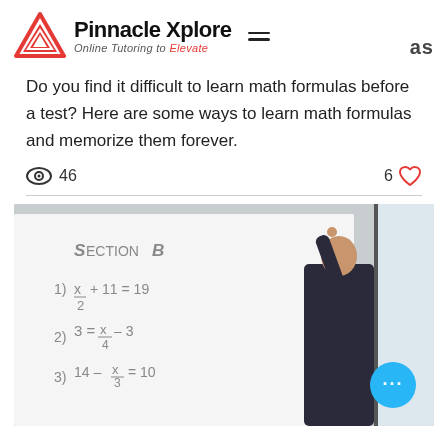Pinnacle Xplore — Online Tutoring to Elevate
Do you find it difficult to learn math formulas before a test? Here are some ways to learn math formulas and memorize them forever.
46 views · 6 likes
[Figure (photo): A person writing math equations on a whiteboard. The board shows 'Section B' with equations: 1) x/2 + 11 = 19, 2) 3 = x/4 - 3, 3) 14 - x/3 = 10]